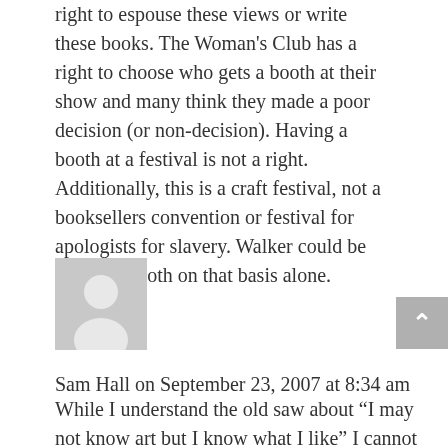right to espouse these views or write these books. The Woman’s Club has a right to choose who gets a booth at their show and many think they made a poor decision (or non-decision). Having a booth at a festival is not a right. Additionally, this is a craft festival, not a booksellers convention or festival for apologists for slavery. Walker could be denied a booth on that basis alone. 24.
[Figure (illustration): Generic user avatar: grey silhouette of a person on a light grey background.]
Sam Hall on September 23, 2007 at 8:34 am While I understand the old saw about “I may not know art but I know what I like” I cannot understand how an apologist’s tirade